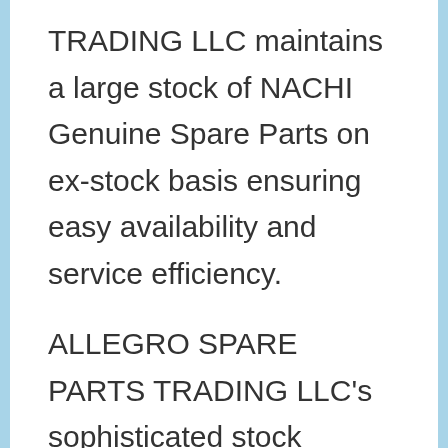TRADING LLC maintains a large stock of NACHI Genuine Spare Parts on ex-stock basis ensuring easy availability and service efficiency.
ALLEGRO SPARE PARTS TRADING LLC's sophisticated stock management system with NACHI electronic parts catalog, satellite link, automated ordering system and